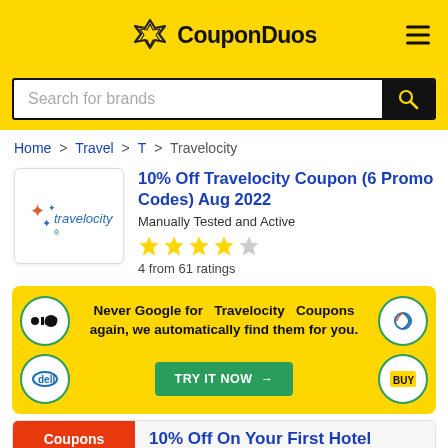CouponDuos
Search for brands
Home > Travel > T > Travelocity
10% Off Travelocity Coupon (6 Promo Codes) Aug 2022
Manually Tested and Active
4 from 61 ratings
[Figure (infographic): Banner ad: Never Google for Travelocity Coupons again, we automatically find them for you. TRY IT NOW button with brand logos (DJI, Dyson, Dell, Best Buy) in circular icons.]
Coupons
10% Off On Your First Hotel